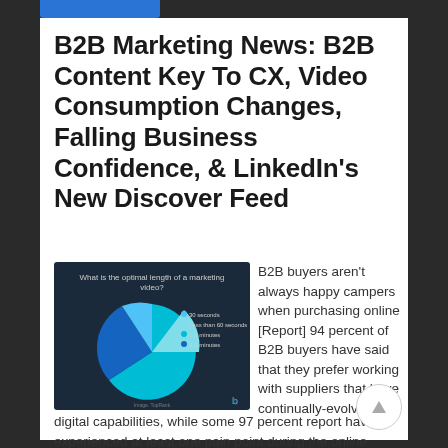B2B Marketing News: B2B Content Key To CX, Video Consumption Changes, Falling Business Confidence, & LinkedIn’s New Discover Feed
[Figure (pie-chart): Pie chart titled 'What is the optimal length of a marketing video?' showing segments in various shades of blue and teal on a dark background]
B2B buyers aren’t always happy campers when purchasing online [Report] 94 percent of B2B buyers have said that they prefer working with suppliers that have continually-evolving digital capabilities, while some 97 percent report having experienced at least one pain point during the online purchase process — two of several findings of interest to B2B marketers … Continue reading